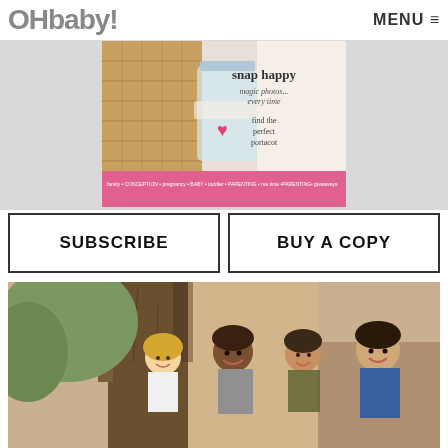OHbaby!
MENU
[Figure (photo): OHbaby! magazine cover showing picnic scene with text 'snap happy magic photos... every time' and 'find the perfect portacot']
SUBSCRIBE
BUY A COPY
[Figure (photo): Four children laughing and playing together outdoors near a large tree in a sunny, natural setting]